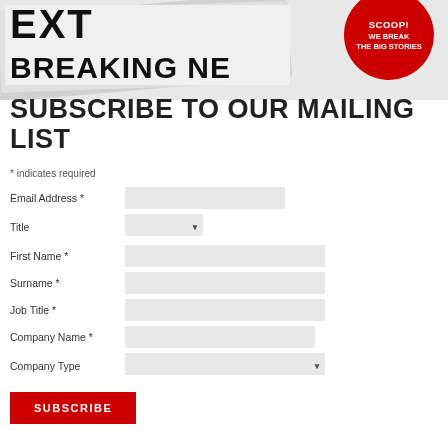[Figure (illustration): Stacked newspapers with bold text 'EXTRA BREAKING NEWS' visible, with a red circular badge reading 'SCOOP! WE BREAK THE BIG STORIES']
SUBSCRIBE TO OUR MAILING LIST
indicates required
Email Address *
Title
First Name *
Surname *
Job Title *
Company Name *
Company Type
SUBSCRIBE